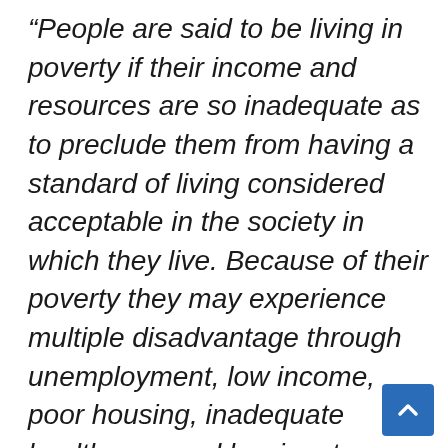“People are said to be living in poverty if their income and resources are so inadequate as to preclude them from having a standard of living considered acceptable in the society in which they live. Because of their poverty they may experience multiple disadvantage through unemployment, low income, poor housing, inadequate health care and barriers to lifelong learning, culture, sport and recreation. They are often excluded and marginalised from